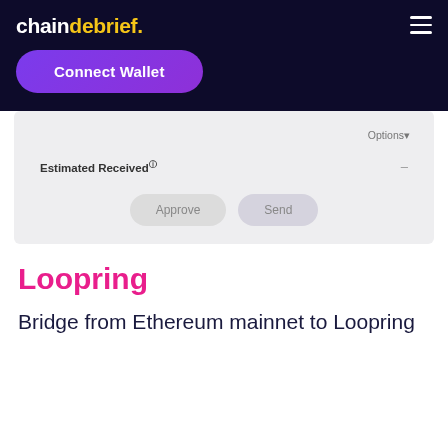chaindebrief.
[Figure (screenshot): Connect Wallet button on dark navy background with hamburger menu icon]
[Figure (screenshot): Web interface card showing Options, Estimated Received field with dash value, and Approve/Send buttons on light grey background]
Loopring
Bridge from Ethereum mainnet to Loopring